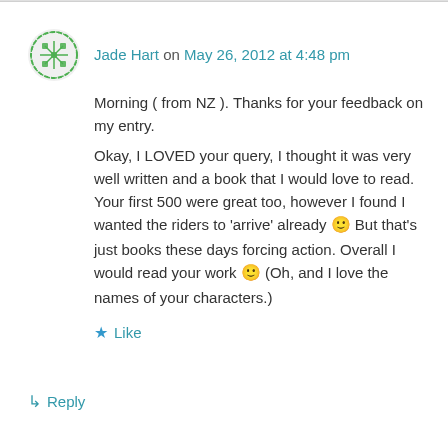Jade Hart on May 26, 2012 at 4:48 pm
Morning ( from NZ ). Thanks for your feedback on my entry.
Okay, I LOVED your query, I thought it was very well written and a book that I would love to read. Your first 500 were great too, however I found I wanted the riders to ‘arrive’ already 🙂 But that’s just books these days forcing action. Overall I would read your work 🙂 (Oh, and I love the names of your characters.)
Like
Reply